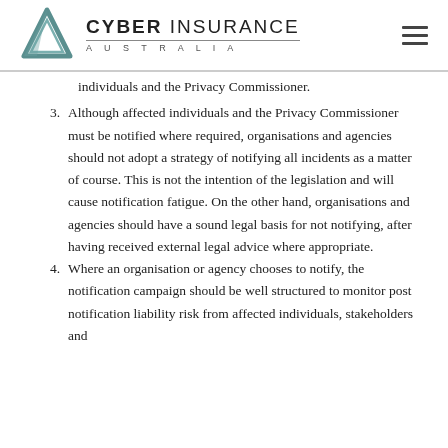Cyber Insurance Australia
individuals and the Privacy Commissioner.
3. Although affected individuals and the Privacy Commissioner must be notified where required, organisations and agencies should not adopt a strategy of notifying all incidents as a matter of course. This is not the intention of the legislation and will cause notification fatigue. On the other hand, organisations and agencies should have a sound legal basis for not notifying, after having received external legal advice where appropriate.
4. Where an organisation or agency chooses to notify, the notification campaign should be well structured to monitor post notification liability risk from affected individuals, stakeholders and regulators. Organisations and agencies should